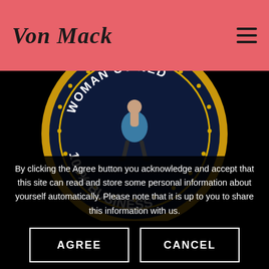[Figure (logo): VonMack logo in italic script font on salmon/coral pink header background]
[Figure (illustration): Circular badge with dark navy background and gold border, showing an upside-down woman in a skirt. Text reads '100% WOMAN OWNED BUSINESS' arranged in a circle.]
By clicking the Agree button you acknowledge and accept that this site can read and store some personal information about yourself automatically. Please note that it is up to you to share this information with us.
AGREE
CANCEL